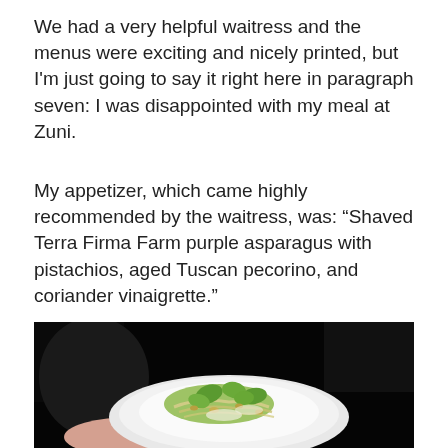We had a very helpful waitress and the menus were exciting and nicely printed, but I'm just going to say it right here in paragraph seven: I was disappointed with my meal at Zuni.
My appetizer, which came highly recommended by the waitress, was: “Shaved Terra Firma Farm purple asparagus with pistachios, aged Tuscan pecorino, and coriander vinaigrette.”
[Figure (photo): A dark photograph showing a white plate with a shaved asparagus salad with green leaves and pistachios, held by a hand against a very dark background.]